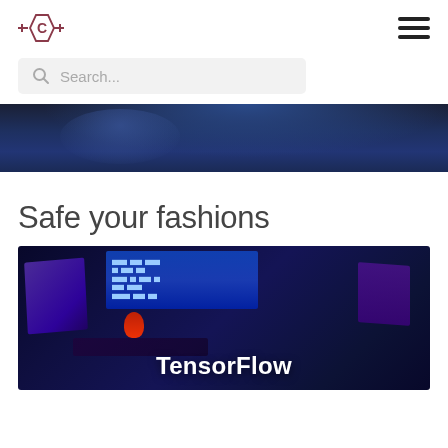[Figure (logo): Hexagonal circuit-style logo with letter C in center and horizontal lines on sides]
[Figure (other): Hamburger menu icon with three horizontal lines]
[Figure (other): Search bar with magnifying glass icon and placeholder text 'Search...']
[Figure (photo): Dark blue hacker/cyber themed image showing a person in a hood against a dark background]
Safe your fashions
[Figure (photo): Dark blue cyber/hacking themed image with computer screens showing blue code, a red arrow, and 'TensorFlow' text in white bold at the bottom]